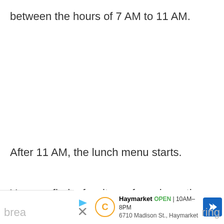between the hours of 7 AM to 11 AM.
After 11 AM, the lunch menu starts.
You can find a few items for sale on the
[Figure (other): Haymarket business ad bar showing: play icon, X icon, C logo (orange), Haymarket OPEN 10AM-8PM, 6710 Madison St., Haymarket, blue navigation arrow icon]